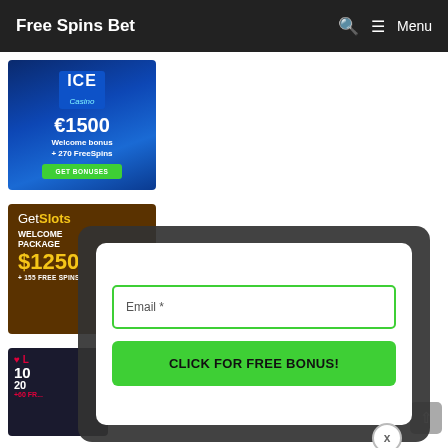Free Spins Bet  🔍  ≡ Menu
[Figure (screenshot): ICE Casino banner: €1500 Welcome bonus + 270 FreeSpins, GET BONUSES button]
[Figure (screenshot): GetSlots banner: WELCOME PACKAGE $1250 + 155 FREE SPINS]
[Figure (screenshot): Partial third casino banner (bottom left)]
[Figure (screenshot): Modal overlay with Email * input field and CLICK FOR FREE BONUS! green button, and X close button]